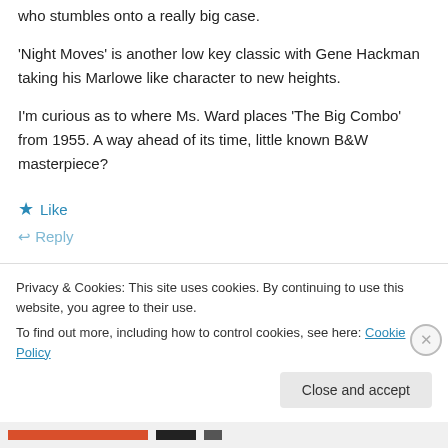who stumbles onto a really big case.
'Night Moves' is another low key classic with Gene Hackman taking his Marlowe like character to new heights.
I'm curious as to where Ms. Ward places 'The Big Combo' from 1955. A way ahead of its time, little known B&W masterpiece?
★ Like
↩ Reply
Privacy & Cookies: This site uses cookies. By continuing to use this website, you agree to their use. To find out more, including how to control cookies, see here: Cookie Policy
Close and accept